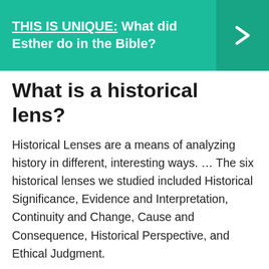[Figure (infographic): Teal/green banner with bold white text: THIS IS UNIQUE: What did Esther do in the Bible? with a right-pointing chevron arrow on dark teal background on the right side.]
What is a historical lens?
Historical Lenses are a means of analyzing history in different, interesting ways. … The six historical lenses we studied included Historical Significance, Evidence and Interpretation, Continuity and Change, Cause and Consequence, Historical Perspective, and Ethical Judgment.
What does Bible say about criticism?
The Bible talks about Proverbs 15:31-32: "If...